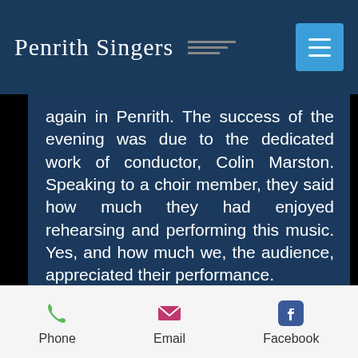Penrith Singers
again in Penrith. The success of the evening was due to the dedicated work of conductor, Colin Marston. Speaking to a choir member, they said how much they had enjoyed rehearsing and performing this music. Yes, and how much we, the audience, appreciated their performance.
Follow us on Facebook...
Phone  Email  Facebook